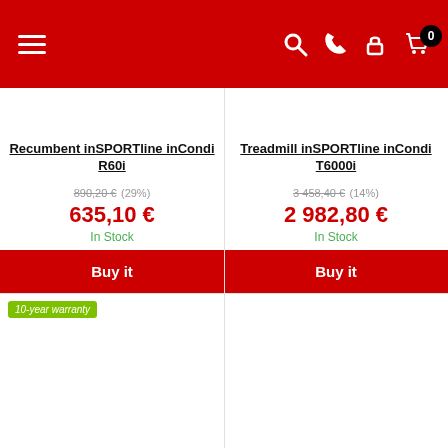Navigation bar with menu, search, phone, account, cart icons
Recumbent inSPORTline inCondi R60i
890,20 € (29%) 635,10 € In Stock
Buy it
Treadmill inSPORTline inCondi T6000i
3 458,40 € (14%) 2 982,80 € In Stock
Buy it
10-year warranty